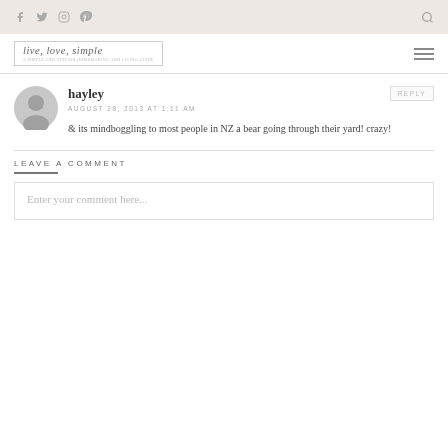Social icons: Facebook, Twitter, Instagram, Pinterest, Search
[Figure (logo): live, love, simple blog logo with decorative script text and subtitle]
hayley
AUGUST 28, 2013 AT 1:11 AM
& its mindboggling to most people in NZ a bear going through their yard! crazy!
LEAVE A COMMENT
Enter your comment here...